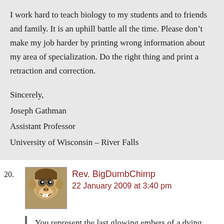I work hard to teach biology to my students and to friends and family. It is an uphill battle all the time. Please don't make my job harder by printing wrong information about my area of specialization. Do the right thing and print a retraction and correction.

Sincerely,
Joseph Gathman
Assistant Professor
University of Wisconsin – River Falls
20. Rev. BigDumbChimp
22 January 2009 at 3:40 pm
You represent the last glowing embers of a dying paradigm.